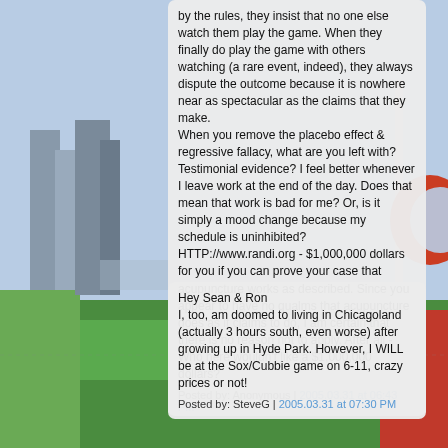[Figure (illustration): Background illustration of a baseball stadium / Chicagoland cityscape with green field, buildings, and team logo visible on the right side.]
by the rules, they insist that no one else watch them play the game. When they finally do play the game with others watching (a rare event, indeed), they always dispute the outcome because it is nowhere near as spectacular as the claims that they make.
When you remove the placebo effect & regressive fallacy, what are you left with? Testimonial evidence? I feel better whenever I leave work at the end of the day. Does that mean that work is bad for me? Or, is it simply a mood change because my schedule is uninhibited?
HTTP://www.randi.org - $1,000,000 dollars for you if you can prove your case that acupuncture works as described. Since you appear to have no qualms that acupuncture does as it claims to do, I am certain that there is no reason not to apply. After all - Who here wouldn't like a $1,000,000 dollars?
Posted by: Anonymous | 2005.03.31 at 06:43 PM
Hey Sean & Ron
I, too, am doomed to living in Chicagoland (actually 3 hours south, even worse) after growing up in Hyde Park. However, I WILL be at the Sox/Cubbie game on 6-11, crazy prices or not!
Posted by: SteveG | 2005.03.31 at 07:30 PM